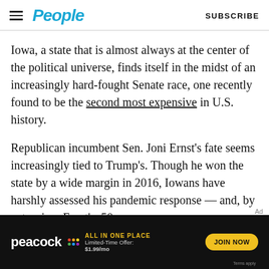People | SUBSCRIBE
Iowa, a state that is almost always at the center of the political universe, finds itself in the midst of an increasingly hard-fought Senate race, one recently found to be the second most expensive in U.S. history.
Republican incumbent Sen. Joni Ernst’s fate seems increasingly tied to Trump’s. Though he won the state by a wide margin in 2016, Iowans have harshly assessed his pandemic response — and, by extension, Ernst’s, 50.
[Figure (other): Peacock streaming service advertisement banner: ALL IN ONE PLACE, Limited-Time Offer: $1.99/mo, JOIN NOW button]